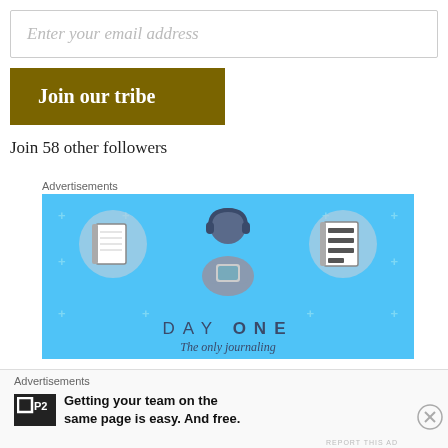Enter your email address
Join our tribe
Join 58 other followers
Advertisements
[Figure (illustration): Day One app advertisement with blue background showing a person holding a phone, flanked by a notebook icon and a list/journal icon. Text reads DAY ONE and 'The only journaling']
Advertisements
[Figure (logo): P2 logo - black square with P2 text]
Getting your team on the same page is easy. And free.